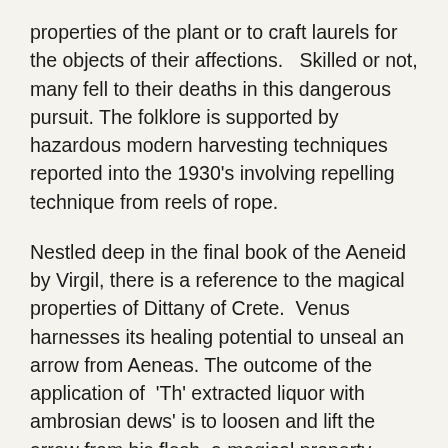properties of the plant or to craft laurels for the objects of their affections.   Skilled or not, many fell to their deaths in this dangerous pursuit. The folklore is supported by hazardous modern harvesting techniques reported into the 1930's involving repelling technique from reels of rope.
Nestled deep in the final book of the Aeneid by Virgil, there is a reference to the magical properties of Dittany of Crete.  Venus harnesses its healing potential to unseal an arrow from Aeneas. The outcome of the application of  'Th' extracted liquor with ambrosian dews' is to loosen and lift the arrow from his flesh, a magical property apparently known also to goats which ranged Mt. Ida and were reported to eat Dittany when wounded.